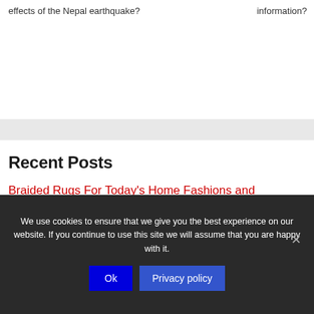effects of the Nepal earthquake?
information?
Recent Posts
Braided Rugs For Today's Home Fashions and Lifestyles
We use cookies to ensure that we give you the best experience on our website. If you continue to use this site we will assume that you are happy with it.
Ok
Privacy policy